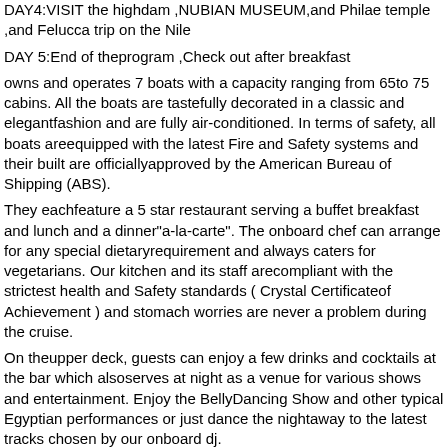DAY4:VISIT the highdam ,NUBIAN MUSEUM,and Philae temple ,and Felucca trip on the Nile
DAY 5:End of theprogram ,Check out after breakfast
owns and operates 7 boats with a capacity ranging from 65to 75 cabins. All the boats are tastefully decorated in a classic and elegantfashion and are fully air-conditioned. In terms of safety, all boats areequipped with the latest Fire and Safety systems and their built are officiallyapproved by the American Bureau of Shipping (ABS).
They eachfeature a 5 star restaurant serving a buffet breakfast and lunch and a dinner"a-la-carte". The onboard chef can arrange for any special dietaryrequirement and always caters for vegetarians. Our kitchen and its staff arecompliant with the strictest health and Safety standards ( Crystal Certificateof Achievement ) and stomach worries are never a problem during the cruise.
On theupper deck, guests can enjoy a few drinks and cocktails at the bar which alsoserves at night as a venue for various shows and entertainment. Enjoy the BellyDancing Show and other typical Egyptian performances or just dance the nightaway to the latest tracks chosen by our onboard dj.
For thesun-lovers, there is a large sundeck with loungers and a swimming pool to relaxafter a long day of visits under the scorching Egyptian sun. A massage serviceis also available on the sundeck, to help our guests unwind with spectacularviews of the Nile.
OnBoard Facilities
65-75 Air-conditioned Guests Cabins
Panoramic Lounge Bar
Sundeck with Swimming pool